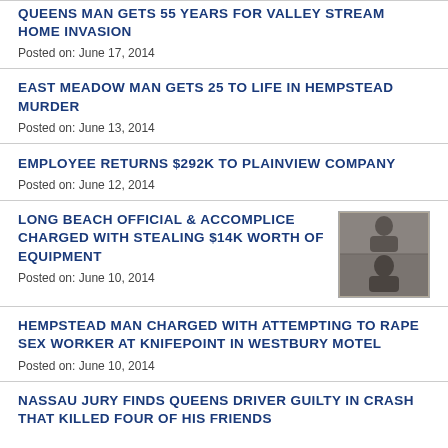QUEENS MAN GETS 55 YEARS FOR VALLEY STREAM HOME INVASION
Posted on: June 17, 2014
EAST MEADOW MAN GETS 25 TO LIFE IN HEMPSTEAD MURDER
Posted on: June 13, 2014
EMPLOYEE RETURNS $292K TO PLAINVIEW COMPANY
Posted on: June 12, 2014
LONG BEACH OFFICIAL & ACCOMPLICE CHARGED WITH STEALING $14K WORTH OF EQUIPMENT
[Figure (photo): Mugshot photo of two individuals stacked vertically]
Posted on: June 10, 2014
HEMPSTEAD MAN CHARGED WITH ATTEMPTING TO RAPE SEX WORKER AT KNIFEPOINT IN WESTBURY MOTEL
Posted on: June 10, 2014
NASSAU JURY FINDS QUEENS DRIVER GUILTY IN CRASH THAT KILLED FOUR OF HIS FRIENDS